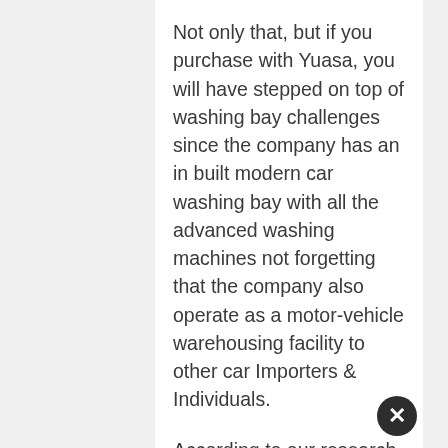Not only that, but if you purchase with Yuasa, you will have stepped on top of washing bay challenges since the company has an in built modern car washing bay with all the advanced washing machines not forgetting that the company also operate as a motor-vehicle warehousing facility to other car Importers & Individuals.
According to our research, we discovered that customers purchasing with Yuasa have not met any hardships in cooperating with this service oriented company, hence advising you to use this independence holiday and purchase your dream car with Yuasa